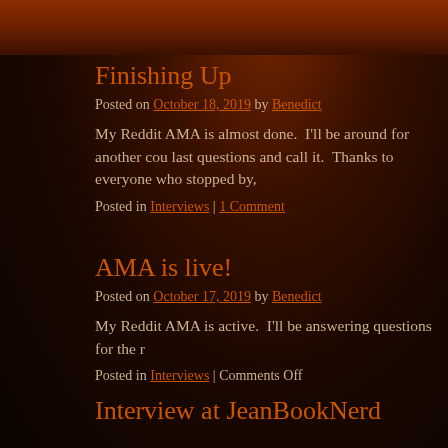Finishing Up
Posted on October 18, 2019 by Benedict
My Reddit AMA is almost done.  I'll be around for another cou last questions and call it.  Thanks to everyone who stopped by,
Posted in Interviews | 1 Comment
AMA is live!
Posted on October 17, 2019 by Benedict
My Reddit AMA is active.  I'll be answering questions for the r
Posted in Interviews | Comments Off
Interview at JeanBookNerd